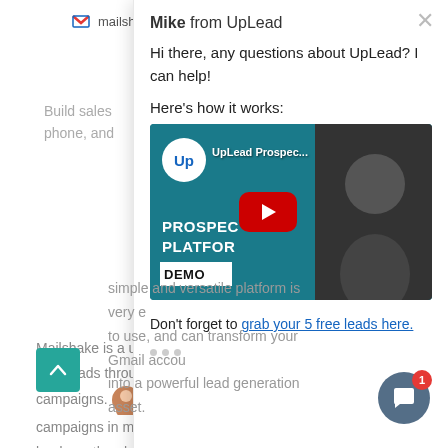[Figure (screenshot): Mailshake website background with logo and partial page text visible behind a chat overlay widget]
[Figure (screenshot): UpLead live chat widget overlay showing greeting from Mike, YouTube video thumbnail for UpLead Prospec... demo, and reply input box]
Mike from UpLead
Hi there, any questions about UpLead? I can help!
Here's how it works:
UpLead Prospec... PROSPECTING PLATFORM DEMO
Don't forget to grab your 5 free leads here.
Reply to Mike...
Mailshake is a use... your leads through... campaigns. T... t... campaigns in me... leads on the pho...
This simple and versatile platform is very e... to use, and can transform your Gmail accou... into a powerful lead generation asset.